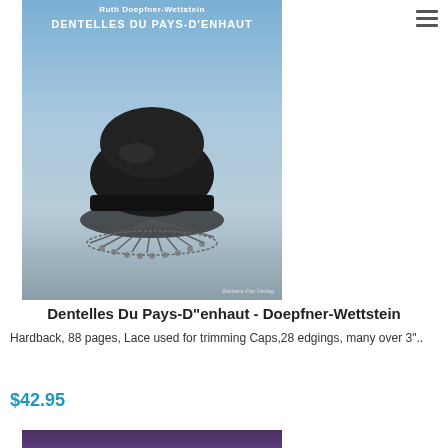[Figure (photo): Book cover of 'Dentelles Du Pays-D'Enhaut' by Ruth Doepfner-Wettstein, published by Barbara Fay Verlag. The cover shows a dark/black decorative cap with intricate black lace trimming against a blue-gray background.]
Dentelles Du Pays-D"enhaut - Doepfner-Wettstein
Hardback, 88 pages, Lace used for trimming Caps,28 edgings, many over 3"..
$42.95
[Figure (photo): Partial view of a second book cover at the bottom of the page, showing purple/dark cover.]